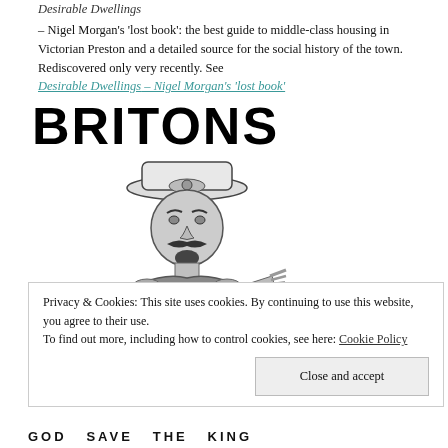Desirable Dwellings
– Nigel Morgan's 'lost book': the best guide to middle-class housing in Victorian Preston and a detailed source for the social history of the town. Rediscovered only very recently. See Desirable Dwellings – Nigel Morgan's 'lost book'
[Figure (illustration): Large bold text 'BRITONS' above a black and white illustration of Lord Kitchener in military uniform and cap, pointing forward (famous 'Your Country Needs You' poster style)]
Privacy & Cookies: This site uses cookies. By continuing to use this website, you agree to their use.
To find out more, including how to control cookies, see here: Cookie Policy
Close and accept
GOD SAVE THE KING